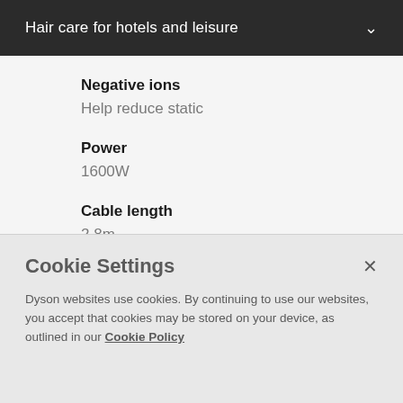Hair care for hotels and leisure
Negative ions
Help reduce static
Power
1600W
Cable length
2.8m
Airflow
Cookie Settings
Dyson websites use cookies. By continuing to use our websites, you accept that cookies may be stored on your device, as outlined in our Cookie Policy